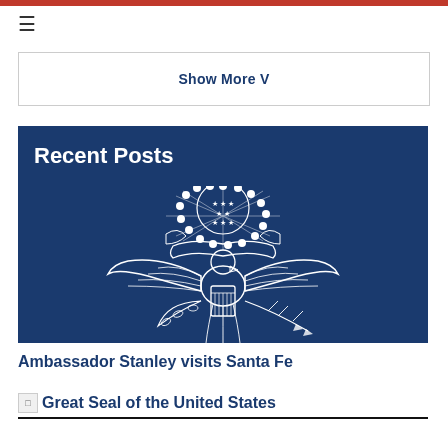≡
Show More V
Recent Posts
[Figure (illustration): Great Seal of the United States — white line art of the eagle with shield, olive branch, arrows, and constellation of stars on a dark navy blue background]
Ambassador Stanley visits Santa Fe
Great Seal of the United States